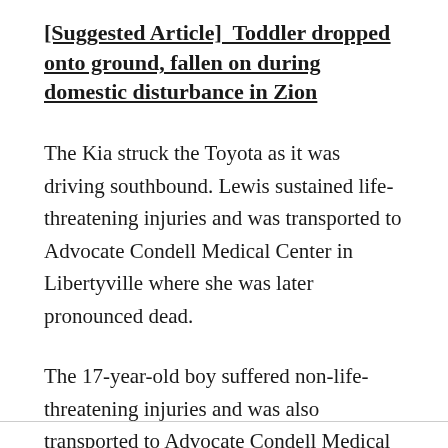[Suggested Article]  Toddler dropped onto ground, fallen on during domestic disturbance in Zion
The Kia struck the Toyota as it was driving southbound. Lewis sustained life-threatening injuries and was transported to Advocate Condell Medical Center in Libertyville where she was later pronounced dead.
The 17-year-old boy suffered non-life-threatening injuries and was also transported to Advocate Condell Medical Center.